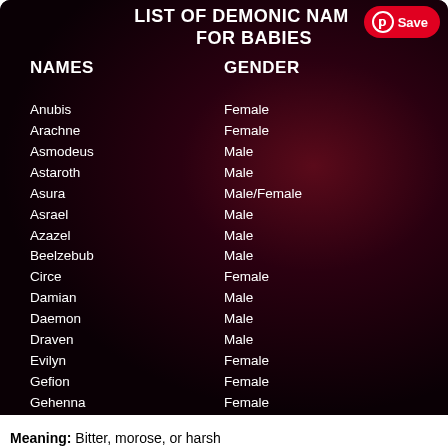LIST OF DEMONIC NAMES FOR BABIES
| NAMES | GENDER |
| --- | --- |
| Anubis | Female |
| Arachne | Female |
| Asmodeus | Male |
| Astaroth | Male |
| Asura | Male/Female |
| Asrael | Male |
| Azazel | Male |
| Beelzebub | Male |
| Circe | Female |
| Damian | Male |
| Daemon | Male |
| Draven | Male |
| Evilyn | Female |
| Gefion | Female |
| Gehenna | Female |
| Golgotha | Male |
| Hades | Male/Female |
| Israfel | Male |
| Jezabel | Female |
| Kalma | Female |
| Lilith | Female |
| Lucifer | Male |
Meaning: Bitter, morose, or harsh